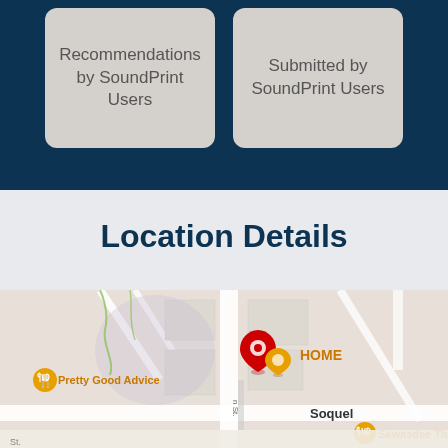Recommendations by SoundPrint Users
Submitted by SoundPrint Users
Location Details
[Figure (map): Google Maps view showing a location pin (HOME) near Soquel, with nearby places including Pretty Good Advice and Sawasdee Thai Cuisine marked with orange restaurant icons.]